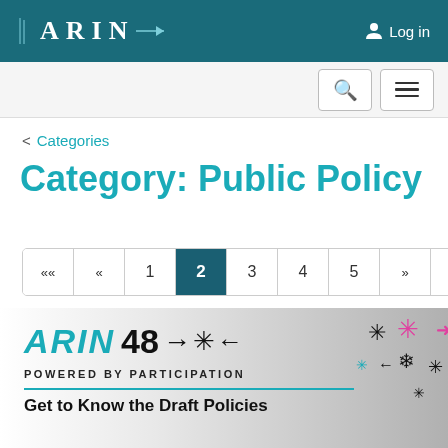ARIN   Log in
< Categories
Category: Public Policy
Pagination: «« « 1 2 3 4 5 » »»
[Figure (screenshot): ARIN 48 banner with snowflake decorations, text reading 'ARIN 48→* POWERED BY PARTICIPATION' and 'Get to Know the Draft Policies']